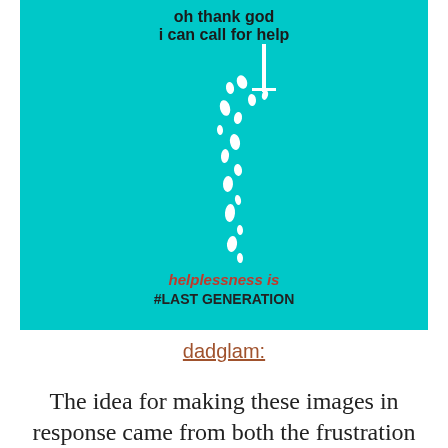[Figure (infographic): Teal/cyan background infographic with text 'oh thank god i can call for help' at the top, a trail of white water droplets falling diagonally, and text at the bottom reading 'helplessness is #LAST GENERATION' in orange/red.]
dadglam:
The idea for making these images in response came from both the frustration